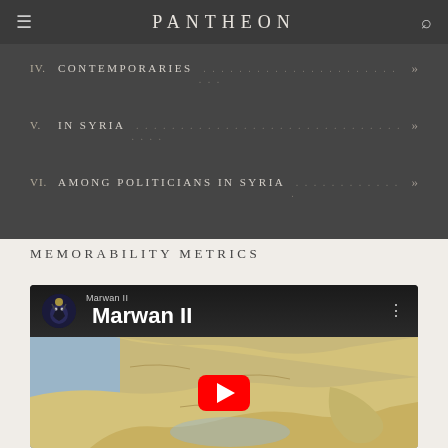PANTHEON
IV. CONTEMPORARIES »
V. IN SYRIA »
VI. AMONG POLITICIANS IN SYRIA »
MEMORABILITY METRICS
[Figure (screenshot): YouTube video thumbnail for Marwan II, showing a historical map of the Middle East region with a red YouTube play button overlay. The video bar shows a wolf/black dog channel icon and the channel name 'Marwan II'.]